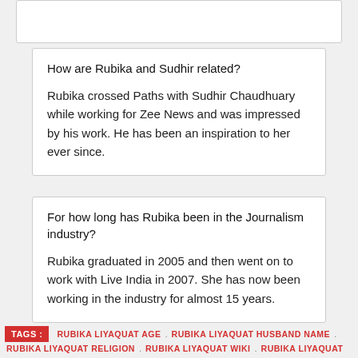How are Rubika and Sudhir related?

Rubika crossed Paths with Sudhir Chaudhuary while working for Zee News and was impressed by his work. He has been an inspiration to her ever since.
For how long has Rubika been in the Journalism industry?

Rubika graduated in 2005 and then went on to work with Live India in 2007. She has now been working in the industry for almost 15 years.
TAGS: RUBIKA LIYAQUAT AGE . RUBIKA LIYAQUAT HUSBAND NAME . RUBIKA LIYAQUAT RELIGION . RUBIKA LIYAQUAT WIKI . RUBIKA LIYAQUAT